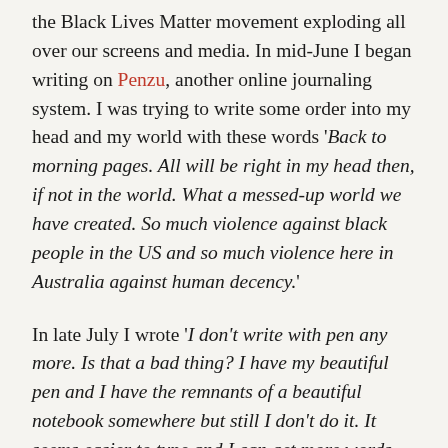the Black Lives Matter movement exploding all over our screens and media. In mid-June I began writing on Penzu, another online journaling system. I was trying to write some order into my head and my world with these words 'Back to morning pages. All will be right in my head then, if not in the world. What a messed-up world we have created. So much violence against black people in the US and so much violence here in Australia against human decency.'
In late July I wrote 'I don't write with pen any more. Is that a bad thing? I have my beautiful pen and I have the remnants of a beautiful notebook somewhere but still I don't do it. It seems easier to type and I can get more words on a page.' I used two screens and developed a